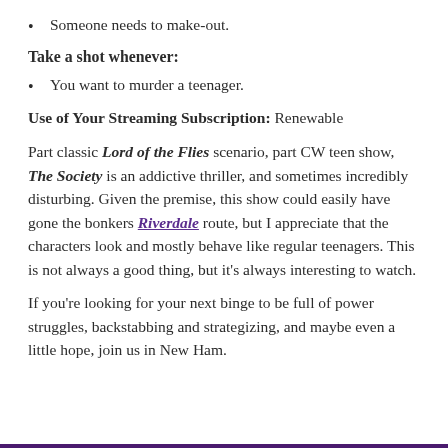Someone needs to make-out.
Take a shot whenever:
You want to murder a teenager.
Use of Your Streaming Subscription: Renewable
Part classic Lord of the Flies scenario, part CW teen show, The Society is an addictive thriller, and sometimes incredibly disturbing. Given the premise, this show could easily have gone the bonkers Riverdale route, but I appreciate that the characters look and mostly behave like regular teenagers. This is not always a good thing, but it's always interesting to watch.
If you're looking for your next binge to be full of power struggles, backstabbing and strategizing, and maybe even a little hope, join us in New Ham.